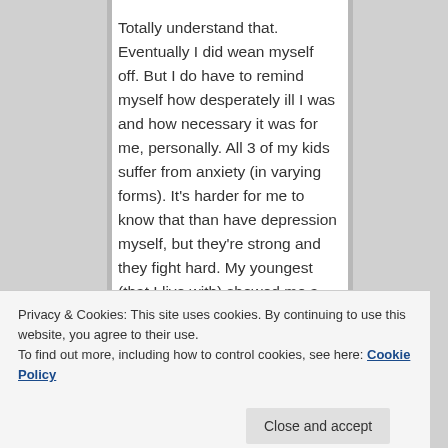Totally understand that. Eventually I did wean myself off. But I do have to remind myself how desperately ill I was and how necessary it was for me, personally. All 3 of my kids suffer from anxiety (in varying forms). It's harder for me to know that than have depression myself, but they're strong and they fight hard. My youngest (that I live with) showed me a book (bible) she has entitled Calm the Fuck Down by Sarah Knight. It made me laugh out
Privacy & Cookies: This site uses cookies. By continuing to use this website, you agree to their use.
To find out more, including how to control cookies, see here: Cookie Policy
Close and accept
limetwisto